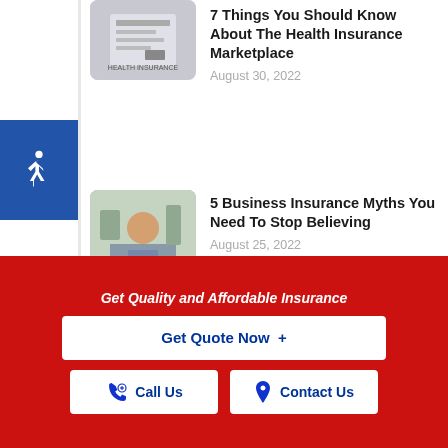[Figure (photo): Health insurance document with clipboard]
7 Things You Should Know About The Health Insurance Marketplace
August 30, 2022
[Figure (photo): Business person at desk with others in background]
5 Business Insurance Myths You Need To Stop Believing
August 25, 2022
[Figure (photo): Woman looking at phone with laptop]
3 Ways You Can Budget Your Non-Monthly Expenses
Get Quality and Affordable Insurance
Get Quote Now  +
Call Us
Contact Us